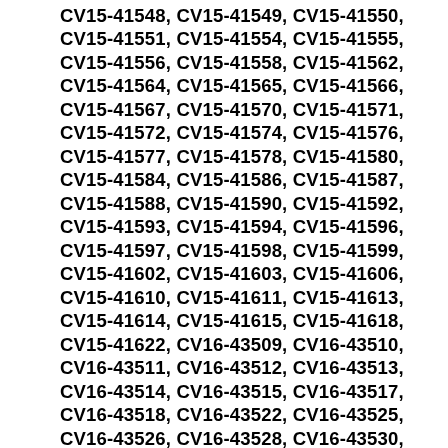CV15-41548, CV15-41549, CV15-41550, CV15-41551, CV15-41554, CV15-41555, CV15-41556, CV15-41558, CV15-41562, CV15-41564, CV15-41565, CV15-41566, CV15-41567, CV15-41570, CV15-41571, CV15-41572, CV15-41574, CV15-41576, CV15-41577, CV15-41578, CV15-41580, CV15-41584, CV15-41586, CV15-41587, CV15-41588, CV15-41590, CV15-41592, CV15-41593, CV15-41594, CV15-41596, CV15-41597, CV15-41598, CV15-41599, CV15-41602, CV15-41603, CV15-41606, CV15-41610, CV15-41611, CV15-41613, CV15-41614, CV15-41615, CV15-41618, CV15-41622, CV16-43509, CV16-43510, CV16-43511, CV16-43512, CV16-43513, CV16-43514, CV16-43515, CV16-43517, CV16-43518, CV16-43522, CV16-43525, CV16-43526, CV16-43528, CV16-43530,